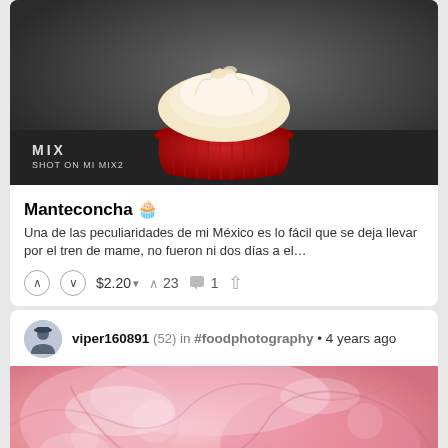[Figure (photo): Close-up photo of a cupcake in a red silicone baking cup, with 'MIX SHOT ON MI MIX2' watermark in bottom-left corner. Dark background.]
Manteconcha 🧁
Una de las peculiaridades de mi México es lo fácil que se deja llevar por el tren de mame, no fueron ni dos días a el…
↑ ↓ $2.20 ▾  ↑ 23  💬 1  ↪
viper160891 (52) in #foodphotography • 4 years ago
[Figure (photo): Close-up photo of pink gelatin or jelly with light reflections and translucent texture.]